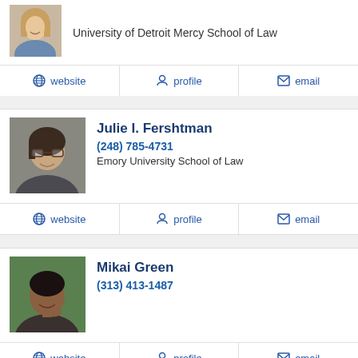[Figure (photo): Partial view of a woman with blonde hair, top of first attorney card]
University of Detroit Mercy School of Law
website   profile   email
[Figure (photo): Photo of Julie I. Fershtman, woman with dark hair and glasses, smiling]
Julie I. Fershtman
(248) 785-4731
Emory University School of Law
website   profile   email
[Figure (photo): Photo of Mikai Green, woman smiling against green background]
Mikai Green
(313) 413-1487
website   profile   email